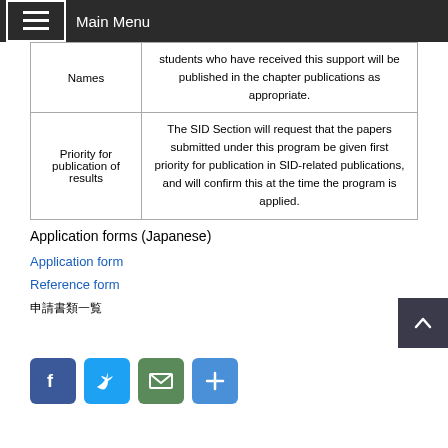Main Menu
| Names | students who have received this support will be published in the chapter publications as appropriate. |
| Priority for publication of results | The SID Section will request that the papers submitted under this program be given first priority for publication in SID-related publications, and will confirm this at the time the program is applied. |
Application forms (Japanese)
Application form
Reference form
申請書類一覧
[Figure (infographic): Four social sharing buttons: Facebook (blue), Twitter (light blue), Email (green), Plus/Share (blue)]